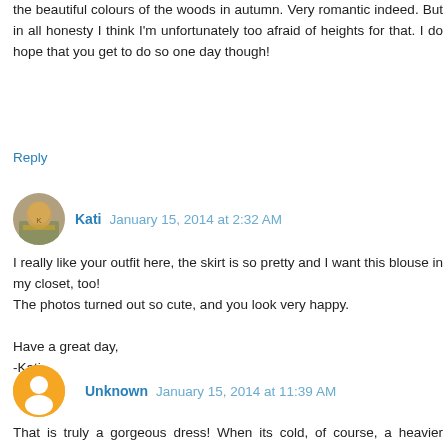the beautiful colours of the woods in autumn. Very romantic indeed. But in all honesty I think I'm unfortunately too afraid of heights for that. I do hope that you get to do so one day though!
Reply
Kati January 15, 2014 at 2:32 AM
I really like your outfit here, the skirt is so pretty and I want this blouse in my closet, too!
The photos turned out so cute, and you look very happy.

Have a great day,
-Kati
Reply
Unknown January 15, 2014 at 11:39 AM
That is truly a gorgeous dress! When its cold, of course, a heavier weight denier tights might help, but those are terrific and add to the outfit. As for the Hot Air Ballooning, I